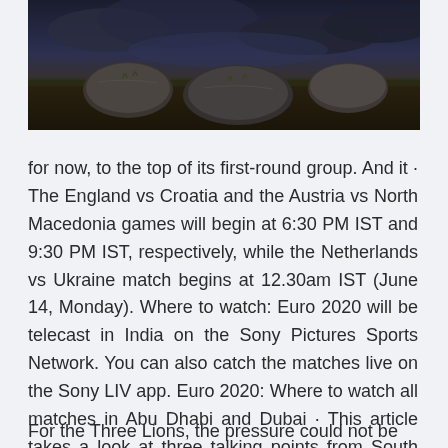[Figure (photo): Dark moody photograph showing rocks or stones with grass and a stormy cloudy sky in the background.]
for now, to the top of its first-round group. And it · The England vs Croatia and the Austria vs North Macedonia games will begin at 6:30 PM IST and 9:30 PM IST, respectively, while the Netherlands vs Ukraine match begins at 12.30am IST (June 14, Monday). Where to watch: Euro 2020 will be telecast in India on the Sony Pictures Sports Network. You can also catch the matches live on the Sony LIV app. Euro 2020: Where to watch all matches in Abu Dhabi and Dubai · This article takes a look at three talking points from South Africa's final round of action in the tournament.
For the Three Lions, the pressure could not be more